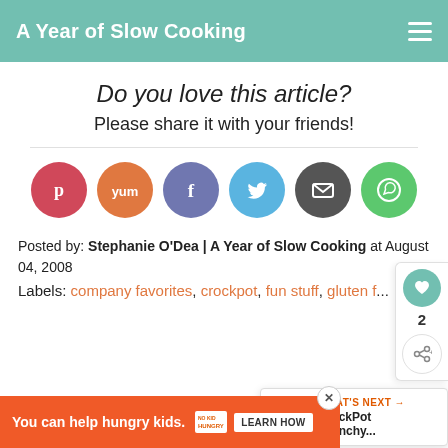A Year of Slow Cooking
Do you love this article?
Please share it with your friends!
[Figure (infographic): Row of 6 social share buttons: Pinterest (red), Yummly (orange), Facebook (purple), Twitter (blue), Email (dark grey), WhatsApp (green)]
[Figure (infographic): Side widget showing heart/like button (teal), count of 2, and share button]
Posted by: Stephanie O'Dea | A Year of Slow Cooking at August 04, 2008
Labels: company favorites, crockpot, fun stuff, gluten f...
[Figure (infographic): WHAT'S NEXT callout showing CrockPot Crunchy... with food thumbnail]
[Figure (infographic): Ad banner: You can help hungry kids. NO KID HUNGRY. LEARN HOW]